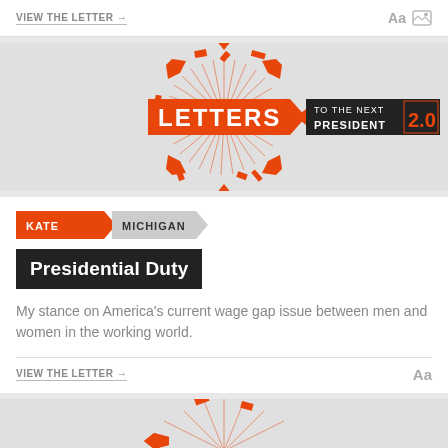VIEW THE LETTER →
[Figure (logo): Letters to the Next President 2.0 logo — orange burst/arrows graphic with the text 'LETTERS' in orange on white arrow shape, 'TO THE NEXT PRESIDENT' in white on black background, and '2.0' in orange on black block]
KATE  MICHIGAN
Presidential Duty
My stance on America's current wage gap issue between men and women in the working world.
VIEW THE LETTER →
[Figure (illustration): Partial orange burst/arrows graphic at bottom, same style as Letters to the Next President logo]